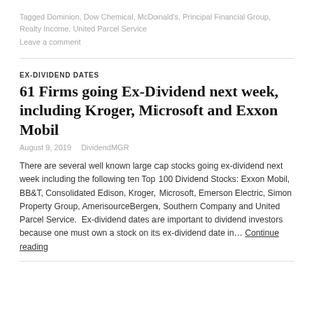Tagged Dominion, Dow Chemical, McDonald's, Principal Financial Group, Realty Income, United Parcel Service
Leave a comment
EX-DIVIDEND DATES
61 Firms going Ex-Dividend next week, including Kroger, Microsoft and Exxon Mobil
August 9, 2019   DividendMGR
There are several well known large cap stocks going ex-dividend next week including the following ten Top 100 Dividend Stocks: Exxon Mobil, BB&T, Consolidated Edison, Kroger, Microsoft, Emerson Electric, Simon Property Group, AmerisourceBergen, Southern Company and United Parcel Service.  Ex-dividend dates are important to dividend investors because one must own a stock on its ex-dividend date in… Continue reading